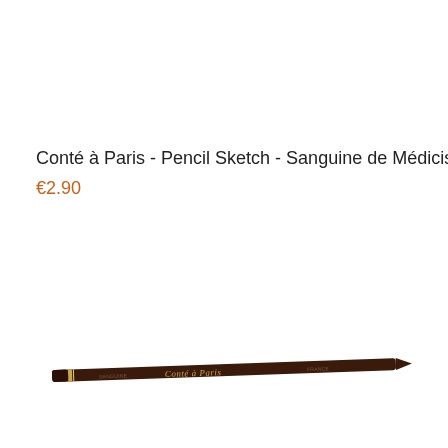Conté à Paris - Pencil Sketch - Sanguine de Médicis
€2.90
[Figure (photo): A dark brown Conté à Paris pencil sketch pencil (Sanguine de Médicis) shown diagonally, with a pointed tip and the Conté à Paris brand name written in script on the barrel.]